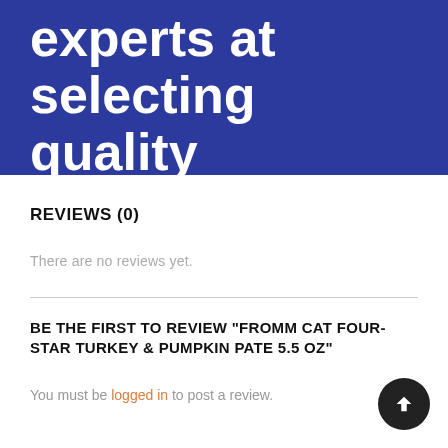experts at selecting quality products
REVIEWS (0)
There are no reviews yet.
BE THE FIRST TO REVIEW “FROMM CAT FOUR-STAR TURKEY & PUMPKIN PATE 5.5 OZ”
You must be logged in to post a review.